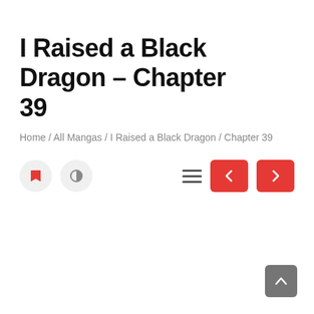I Raised a Black Dragon – Chapter 39
Home / All Mangas / I Raised a Black Dragon / Chapter 39
[Figure (screenshot): Navigation controls: bookmark icon button, contrast icon button, hamburger menu icon, red left arrow navigation button, red right arrow navigation button]
[Figure (other): Gray scroll-to-top button with upward arrow icon in bottom-right corner]